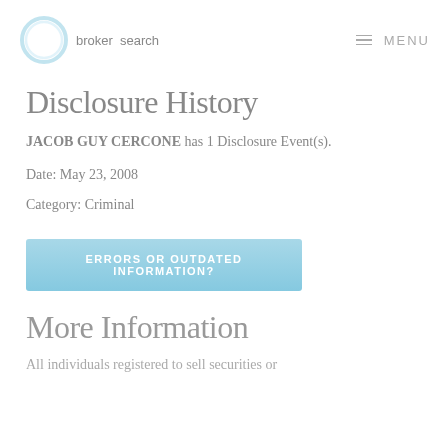broker search | MENU
Disclosure History
JACOB GUY CERCONE has 1 Disclosure Event(s).
Date: May 23, 2008
Category: Criminal
[Figure (other): Button: ERRORS OR OUTDATED INFORMATION?]
More Information
All individuals registered to sell securities or